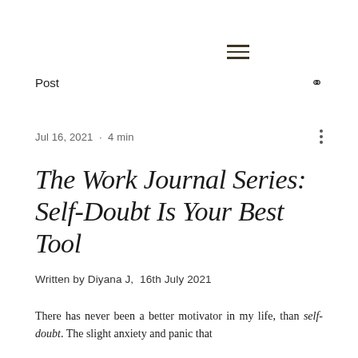≡ (hamburger menu icon)
Post
Jul 16, 2021  ·  4 min
The Work Journal Series: Self-Doubt Is Your Best Tool
Written by Diyana J,  16th July 2021
There has never been a better motivator in my life, than self-doubt. The slight anxiety and panic that